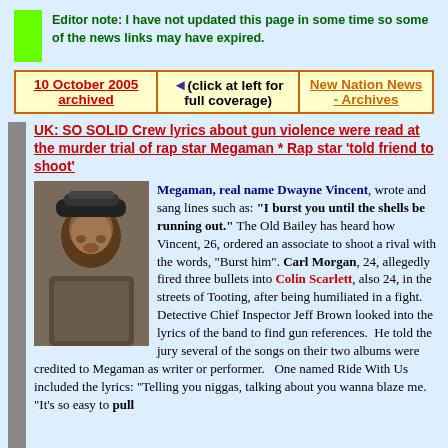Editor note: I have not updated this page in some time so some of the news links may have expired.
| 10 October 2005 archived | (click at left for full coverage) | New Nation News - Archives |
| --- | --- | --- |
UK: SO SOLID Crew lyrics about gun violence were read at the murder trial of rap star Megaman * Rap star 'told friend to shoot'
Megaman, real name Dwayne Vincent, wrote and sang lines such as: "I burst you until the shells be running out." The Old Bailey has heard how Vincent, 26, ordered an associate to shoot a rival with the words, "Burst him". Carl Morgan, 24, allegedly fired three bullets into Colin Scarlett, also 24, in the streets of Tooting, after being humiliated in a fight. Detective Chief Inspector Jeff Brown looked into the lyrics of the band to find gun references. He told the jury several of the songs on their two albums were credited to Megaman as writer or performer. One named Ride With Us included the lyrics: "Telling you niggas, talking about you wanna blaze me. "It's so easy to pull